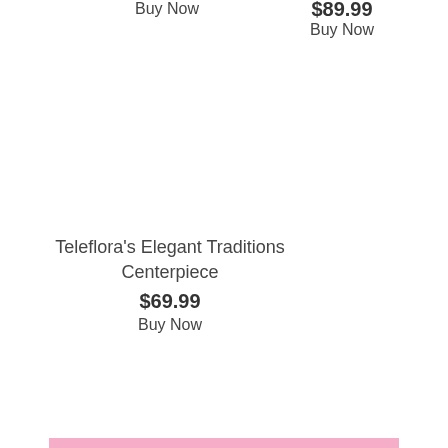Buy Now
$89.99
Buy Now
Teleflora's Elegant Traditions Centerpiece
$69.99
Buy Now
SHOP ALL BIRTHDAY FLOWERS
ANNIVERSARY FLOWERS
Need anniversary gift ideas? Orban's Fruit & Flowers can help! We've got all types of flowers for an anniversary.